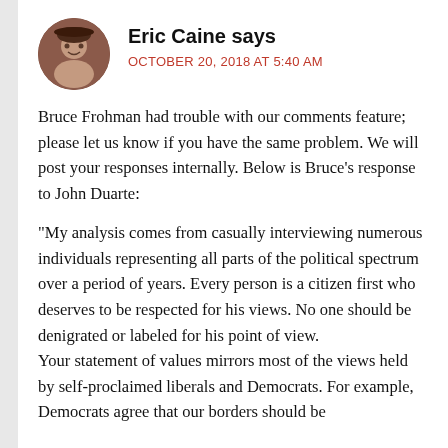[Figure (photo): Circular avatar photo of Eric Caine, a person wearing a hat]
Eric Caine says
OCTOBER 20, 2018 AT 5:40 AM
Bruce Frohman had trouble with our comments feature; please let us know if you have the same problem. We will post your responses internally. Below is Bruce's response to John Duarte:
“My analysis comes from casually interviewing numerous individuals representing all parts of the political spectrum over a period of years. Every person is a citizen first who deserves to be respected for his views. No one should be denigrated or labeled for his point of view.
Your statement of values mirrors most of the views held by self-proclaimed liberals and Democrats. For example, Democrats agree that our borders should be